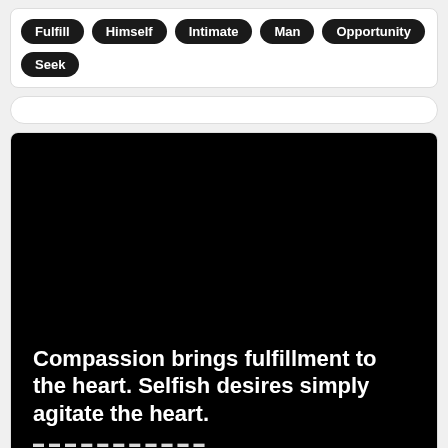Fulfill | Himself | Intimate | Man | Opportunity | Seek
[Figure (photo): Black background image with white bold text reading: 'Compassion brings fulfillment to the heart. Selfish desires simply agitate the heart.' with partially visible author attribution at the bottom.]